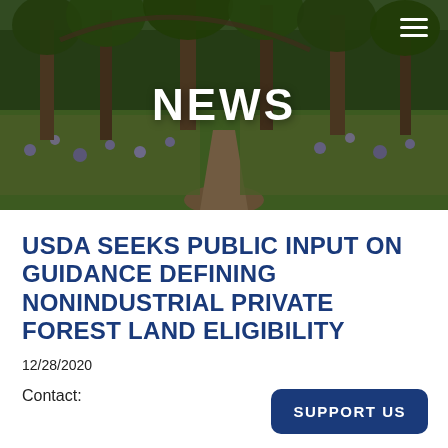[Figure (photo): Forest scene with trees, green undergrowth with purple wildflowers, and a dirt path winding through the woods]
NEWS
USDA SEEKS PUBLIC INPUT ON GUIDANCE DEFINING NONINDUSTRIAL PRIVATE FOREST LAND ELIGIBILITY
12/28/2020
Contact:
SUPPORT US